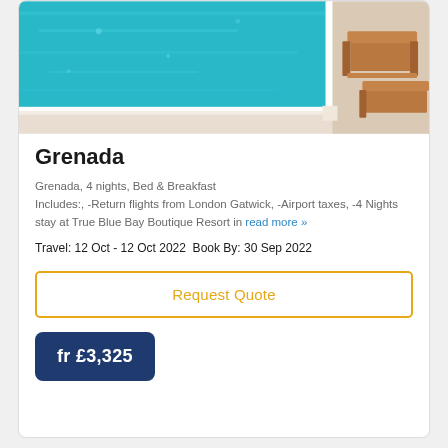[Figure (photo): Swimming pool with turquoise water, white tiled edge, and wooden sun loungers on the right side]
Grenada
Grenada, 4 nights, Bed & Breakfast
Includes:, -Return flights from London Gatwick, -Airport taxes, -4 Nights stay at True Blue Bay Boutique Resort in read more »
Travel: 12 Oct - 12 Oct 2022  Book By: 30 Sep 2022
Request Quote
fr £3,325